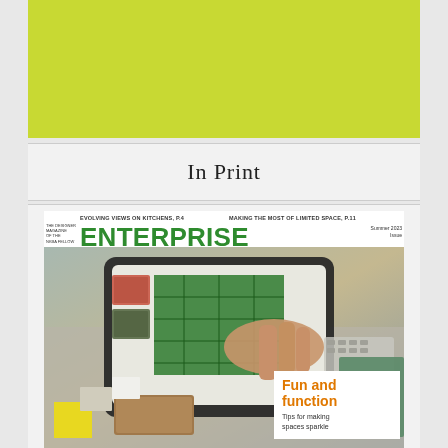[Figure (other): Yellow-green colored banner/header bar]
In Print
[Figure (photo): Magazine cover of ENTERPRISE magazine showing a hand touching a tablet screen with design materials on a desk. Cover lines read: EVOLVING VIEWS ON KITCHENS, MAKING THE MOST OF LIMITED SPACE. Main feature: Fun and function - Tips for making spaces sparkle]